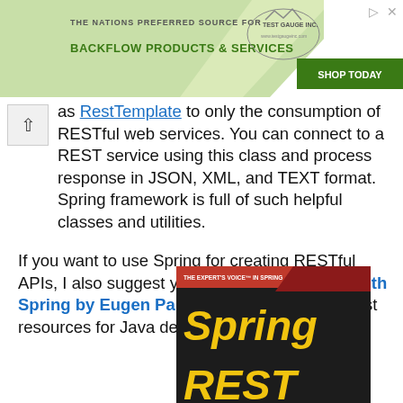[Figure (other): Advertisement banner for Test Gauge Inc. featuring backflow products and services with green background and shop today button]
as RestTemplate to only the consumption of RESTful web services. You can connect to a REST service using this class and process response in JSON, XML, and TEXT format. Spring framework is full of such helpful classes and utilities.
If you want to use Spring for creating RESTful APIs, I also suggest you take a look at REST with Spring by Eugen Paraschiv, it's one of the best resources for Java developers.
[Figure (photo): Book cover for Spring REST showing yellow italic text on dark background with red diagonal banner at top]